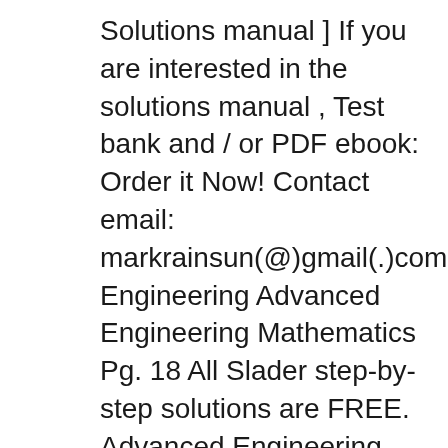Solutions manual ] If you are interested in the solutions manual , Test bank and / or PDF ebook: Order it Now! Contact email: markrainsun(@)gmail(.)com Engineering Advanced Engineering Mathematics Pg. 18 All Slader step-by-step solutions are FREE. Advanced Engineering Mathematics, 10th Edition Advanced Engineering Mathematics, 10th
Just go to Google books or fadoo engineers you will surely get that book 29/08/2019B B· Erwin Kreyszig Solution Manual 8th Edition Pdf Read/Download title: advanced engineering mathematics by erwin kreyszig 8th edition solution manual in english pdf